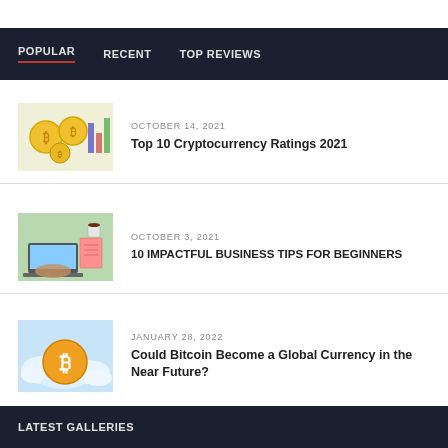POPULAR   RECENT   TOP REVIEWS
[Figure (photo): Gold Bitcoin coins among colorful bar chart sticks on white background]
OCTOBER 14, 2021
Top 10 Cryptocurrency Ratings 2021
[Figure (photo): Person using laptop with notebook and coffee, business workspace]
OCTOBER 3, 2021
10 IMPACTFUL BUSINESS TIPS FOR BEGINNERS
[Figure (photo): Bitcoin symbol on cloud background, sky and clouds illustration]
JANUARY 28, 2022
Could Bitcoin Become a Global Currency in the Near Future?
LATEST GALLERIES